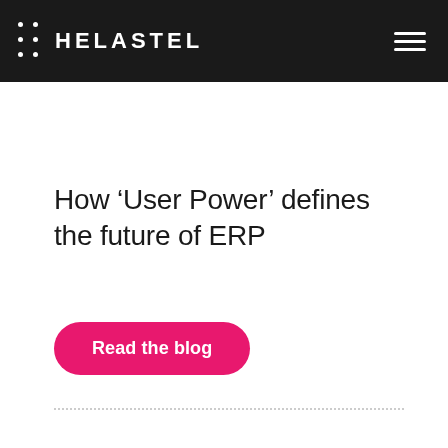HELASTEL
How ‘User Power’ defines the future of ERP
Read the blog